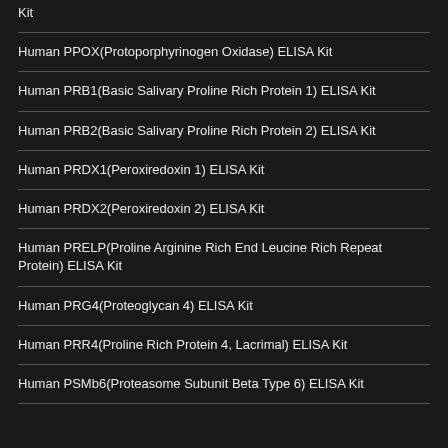Kit
Human PPOX(Protoporphyrinogen Oxidase) ELISA Kit
Human PRB1(Basic Salivary Proline Rich Protein 1) ELISA Kit
Human PRB2(Basic Salivary Proline Rich Protein 2) ELISA Kit
Human PRDX1(Peroxiredoxin 1) ELISA Kit
Human PRDX2(Peroxiredoxin 2) ELISA Kit
Human PRELP(Proline Arginine Rich End Leucine Rich Repeat Protein) ELISA Kit
Human PRG4(Proteoglycan 4) ELISA Kit
Human PRR4(Proline Rich Protein 4, Lacrimal) ELISA Kit
Human PSMb6(Proteasome Subunit Beta Type 6) ELISA Kit